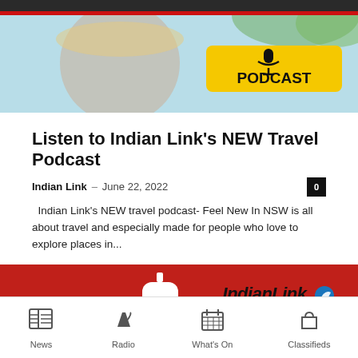[Figure (photo): Podcast banner image with woman wearing hat and yellow 'PODCAST' badge with microphone icon, light blue background]
Listen to Indian Link's NEW Travel Podcast
Indian Link  –  June 22, 2022
Indian Link's NEW travel podcast- Feel New In NSW is all about travel and especially made for people who love to explore places in...
[Figure (photo): Red banner with blood bag icon and IndianLink News logo]
News  Radio  What's On  Classifieds